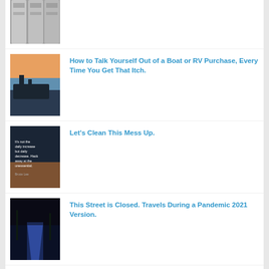[Figure (photo): Toilet paper rolls with humorous labels, partially visible at top of page]
[Figure (photo): Boats docked at a marina at sunset]
How to Talk Yourself Out of a Boat or RV Purchase, Every Time You Get That Itch.
[Figure (photo): Dark image with motivational quote text overlay: It's not the daily increase but daily decrease. Hack away at the unessential. Bruce Lee]
Let's Clean This Mess Up.
[Figure (photo): Night scene of a lit pathway with palm trees and blue illumination]
This Street is Closed. Travels During a Pandemic 2021 Version.
[Figure (photo): Book cover: On Tyranny, Twenty Lessons from the Twentieth Century by Timothy Snyder]
Words That Matter
[Figure (photo): Partially visible image at bottom of page]